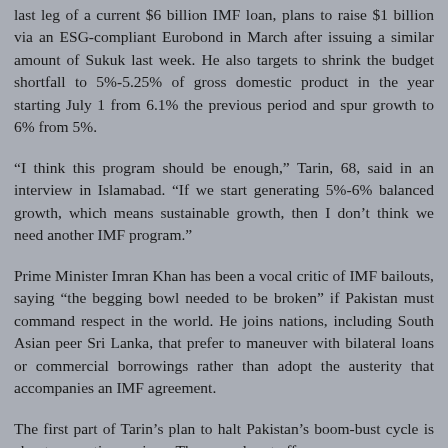last leg of a current $6 billion IMF loan, plans to raise $1 billion via an ESG-compliant Eurobond in March after issuing a similar amount of Sukuk last week. He also targets to shrink the budget shortfall to 5%-5.25% of gross domestic product in the year starting July 1 from 6.1% the previous period and spur growth to 6% from 5%.
“I think this program should be enough,” Tarin, 68, said in an interview in Islamabad. “If we start generating 5%-6% balanced growth, which means sustainable growth, then I don’t think we need another IMF program.”
Prime Minister Imran Khan has been a vocal critic of IMF bailouts, saying “the begging bowl needed to be broken” if Pakistan must command respect in the world. He joins nations, including South Asian peer Sri Lanka, that prefer to maneuver with bilateral loans or commercial borrowings rather than adopt the austerity that accompanies an IMF agreement.
The first part of Tarin’s plan to halt Pakistan’s boom-bust cycle is about generating savings. The second part offers